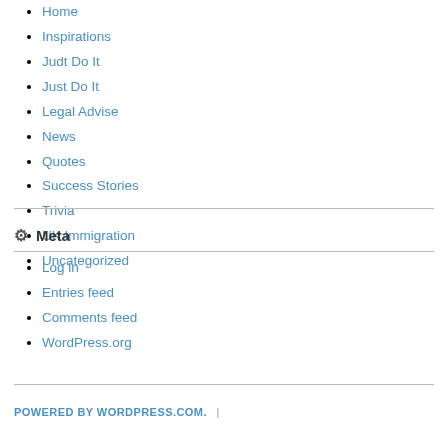Home
Inspirations
Judt Do It
Just Do It
Legal Advise
News
Quotes
Success Stories
Trivia
UK Immigration
Uncategorized
Meta
Log in
Entries feed
Comments feed
WordPress.org
POWERED BY WORDPRESS.COM.